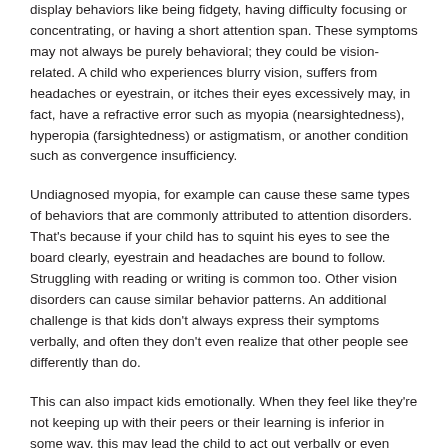display behaviors like being fidgety, having difficulty focusing or concentrating, or having a short attention span. These symptoms may not always be purely behavioral; they could be vision-related. A child who experiences blurry vision, suffers from headaches or eyestrain, or itches their eyes excessively may, in fact, have a refractive error such as myopia (nearsightedness), hyperopia (farsightedness) or astigmatism, or another condition such as convergence insufficiency.
Undiagnosed myopia, for example can cause these same types of behaviors that are commonly attributed to attention disorders. That's because if your child has to squint his eyes to see the board clearly, eyestrain and headaches are bound to follow. Struggling with reading or writing is common too. Other vision disorders can cause similar behavior patterns. An additional challenge is that kids don't always express their symptoms verbally, and often they don't even realize that other people see differently than do.
This can also impact kids emotionally. When they feel like they're not keeping up with their peers or their learning is inferior in some way, this may lead the child to act out verbally or even physically.